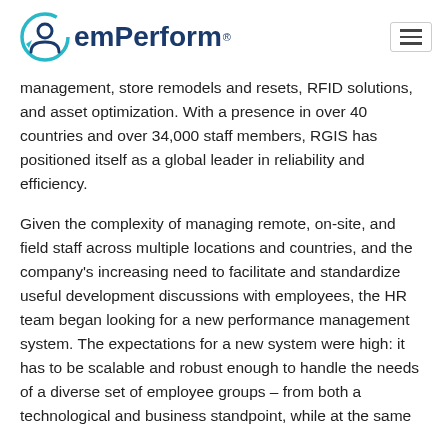emPerform
management, store remodels and resets, RFID solutions, and asset optimization. With a presence in over 40 countries and over 34,000 staff members, RGIS has positioned itself as a global leader in reliability and efficiency.
Given the complexity of managing remote, on-site, and field staff across multiple locations and countries, and the company's increasing need to facilitate and standardize useful development discussions with employees, the HR team began looking for a new performance management system. The expectations for a new system were high: it has to be scalable and robust enough to handle the needs of a diverse set of employee groups – from both a technological and business standpoint, while at the same